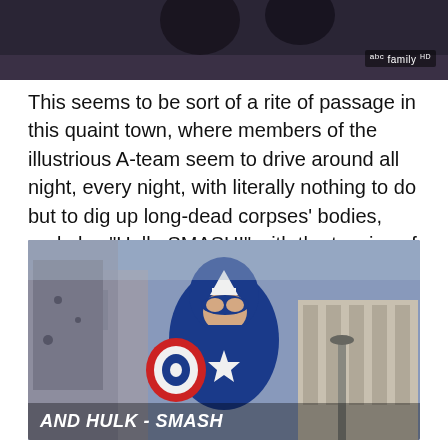[Figure (screenshot): Top portion of a TV screenshot showing dark background with ABC Family HD logo watermark in bottom right]
This seems to be sort of a rite of passage in this quaint town, where members of the illustrious A-team seem to drive around all night, every night, with literally nothing to do but to dig up long-dead corpses' bodies, and play "Hulk, SMASH!" with the toesies of innocent bystanders.
[Figure (screenshot): Captain America in blue suit with 'A' on helmet looking upward, urban background, subtitle reads AND HULK - SMASH]